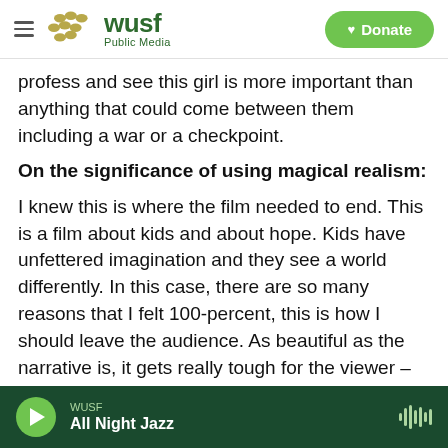WUSF Public Media | Donate
profess and see this girl is more important than anything that could come between them including a war or a checkpoint.
On the significance of using magical realism:
I knew this is where the film needed to end. This is a film about kids and about hope. Kids have unfettered imagination and they see a world differently. In this case, there are so many reasons that I felt 100-percent, this is how I should leave the audience. As beautiful as the narrative is, it gets really tough for the viewer – that I felt that if I
WUSF All Night Jazz